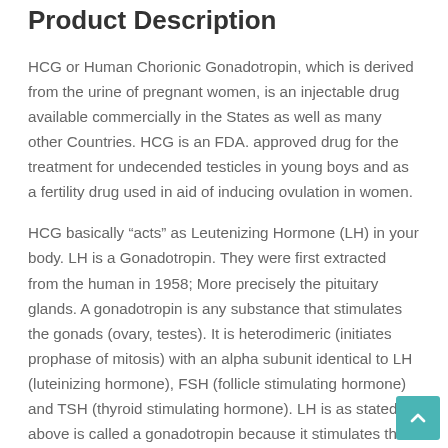Product Description
HCG or Human Chorionic Gonadotropin, which is derived from the urine of pregnant women, is an injectable drug available commercially in the States as well as many other Countries. HCG is an FDA. approved drug for the treatment for undecended testicles in young boys and as a fertility drug used in aid of inducing ovulation in women.
HCG basically “acts” as Leutenizing Hormone (LH) in your body. LH is a Gonadotropin. They were first extracted from the human in 1958; More precisely the pituitary glands. A gonadotropin is any substance that stimulates the gonads (ovary, testes). It is heterodimeric (initiates prophase of mitosis) with an alpha subunit identical to LH (luteinizing hormone), FSH (follicle stimulating hormone) and TSH (thyroid stimulating hormone). LH is as stated above is called a gonadotropin because it stimulates the gonads (testes). It is produced in the pituitary cells and is made up of a beta chain of 115 amino acids and an alpha chain of 89 amino